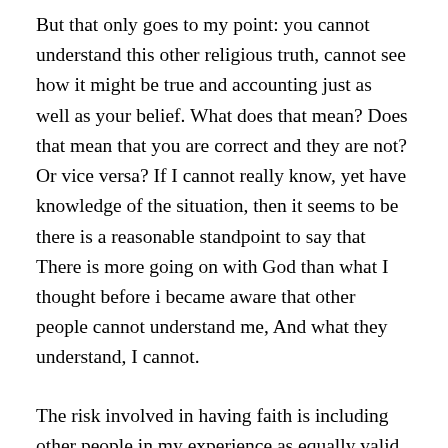But that only goes to my point: you cannot understand this other religious truth, cannot see how it might be true and accounting just as well as your belief. What does that mean? Does that mean that you are correct and they are not? Or vice versa? If I cannot really know, yet have knowledge of the situation, then it seems to be there is a reasonable standpoint to say that There is more going on with God than what I thought before i became aware that other people cannot understand me, And what they understand, I cannot.
The risk involved in having faith is including other people in my experience as equally valid. Everyone has their own idea of what is true and